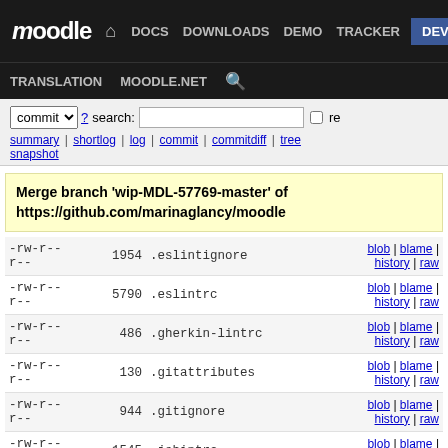Moodle | DOCS | DOWNLOADS | DEMO | TRACKER | DEV | TRANSLATION | MOODLE.NET
commit  ? search:  re
summary | shortlog | log | commit | commitdiff | tree
snapshot
Merge branch 'wip-MDL-57769-master' of https://github.com/marinaglancy/moodle
| permissions | size | filename | links |
| --- | --- | --- | --- |
| -rw-r--r-- | 1954 | .eslintignore | blob | blame | history | raw |
| -rw-r--r-- | 5790 | .eslintrc | blob | blame | history | raw |
| -rw-r--r-- | 486 | .gherkin-lintrc | blob | blame | history | raw |
| -rw-r--r-- | 130 | .gitattributes | blob | blame | history | raw |
| -rw-r--r-- | 944 | .gitignore | blob | blame | history | raw |
| -rw-r--r-- | 1545 | .jshintrc | blob | blame | history | raw |
| -rw-r--r-- | 67 | .shifter.json | blob | blame | history | raw |
| -rw-r--r-- | 2005 | .stylelintignore | blob | blame | history | raw |